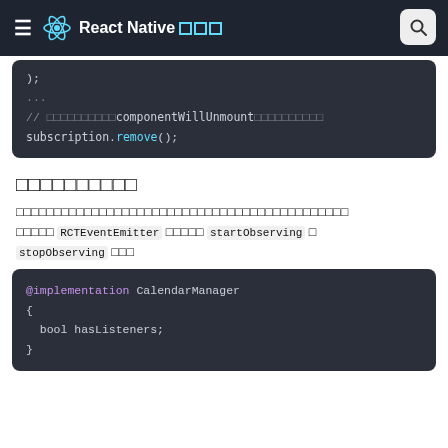React Native [squares]
[Figure (screenshot): Code block showing ); ... // componentWillUnmount subscription.remove();]
监听事件
如果你的原生模块需要以频繁地向JavaScript发送数据，而不是在调用方法时才发送，你需要实现 RCTEventEmitter 协议，实现 startObserving 和 stopObserving 方法。
[Figure (screenshot): Code block showing @implementation CalendarManager { bool hasListeners; }]